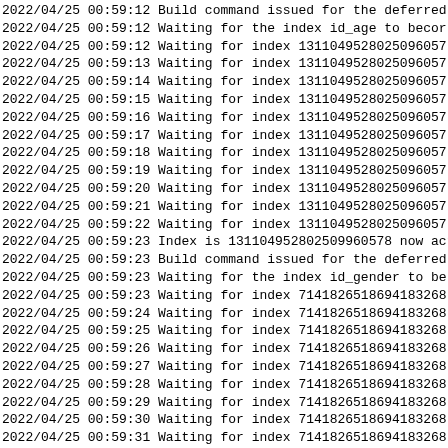2022/04/25 00:59:12 Build command issued for the deferred
2022/04/25 00:59:12 Waiting for the index id_age to becor
2022/04/25 00:59:12 Waiting for index 1311049528025096057
2022/04/25 00:59:13 Waiting for index 1311049528025096057
2022/04/25 00:59:14 Waiting for index 1311049528025096057
2022/04/25 00:59:15 Waiting for index 1311049528025096057
2022/04/25 00:59:16 Waiting for index 1311049528025096057
2022/04/25 00:59:17 Waiting for index 1311049528025096057
2022/04/25 00:59:18 Waiting for index 1311049528025096057
2022/04/25 00:59:19 Waiting for index 1311049528025096057
2022/04/25 00:59:20 Waiting for index 1311049528025096057
2022/04/25 00:59:21 Waiting for index 1311049528025096057
2022/04/25 00:59:22 Waiting for index 1311049528025096057
2022/04/25 00:59:23 Index is 131104952802509960578 now act
2022/04/25 00:59:23 Build command issued for the deferred
2022/04/25 00:59:23 Waiting for the index id_gender to be
2022/04/25 00:59:23 Waiting for index 7141826518694183268
2022/04/25 00:59:24 Waiting for index 7141826518694183268
2022/04/25 00:59:25 Waiting for index 7141826518694183268
2022/04/25 00:59:26 Waiting for index 7141826518694183268
2022/04/25 00:59:27 Waiting for index 7141826518694183268
2022/04/25 00:59:28 Waiting for index 7141826518694183268
2022/04/25 00:59:29 Waiting for index 7141826518694183268
2022/04/25 00:59:30 Waiting for index 7141826518694183268
2022/04/25 00:59:31 Waiting for index 7141826518694183268
2022/04/25 00:59:32 Waiting for index 7141826518694183268
2022/04/25 00:59:33 Index is 7141826518694183268 now acti
2022/04/25 00:59:33 Build command issued for the deferred
2022/04/25 00:59:33 Waiting for the index id_isActive to
2022/04/25 00:59:33 Waiting for index 484534254303073394